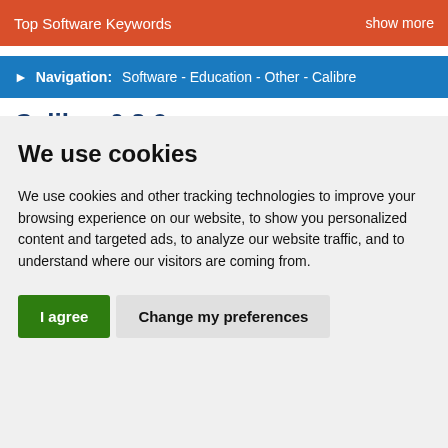Top Software Keywords    show more
Navigation:    Software - Education - Other - Calibre
Calibre 6.3.0
We use cookies
We use cookies and other tracking technologies to improve your browsing experience on our website, to show you personalized content and targeted ads, to analyze our website traffic, and to understand where our visitors are coming from.
I agree    Change my preferences